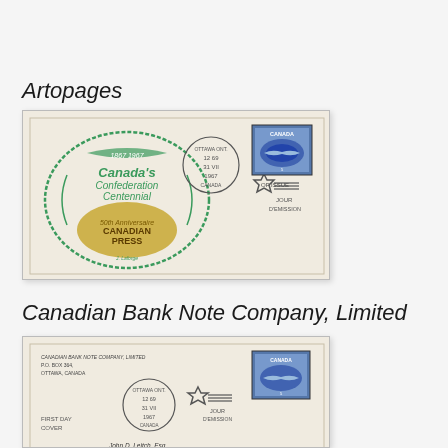Artopages
[Figure (photo): First day cover envelope with green decorative Artopages cachet showing Canada's Confederation Centennial and Canadian Press anniversary, with blue Canada stamp and star cancellation mark reading JOUR D'EMISSION]
Canadian Bank Note Company, Limited
[Figure (photo): First day cover envelope from Canadian Bank Note Company with printed return address, circular Ottawa cancellation, blue Canada stamp and star cancellation mark reading JOUR D'EMISSION, addressed to John D. Leitch Esq., Chairman of the Board, Maple Leaf Mills Limited, P.O. Box 370, Station A]